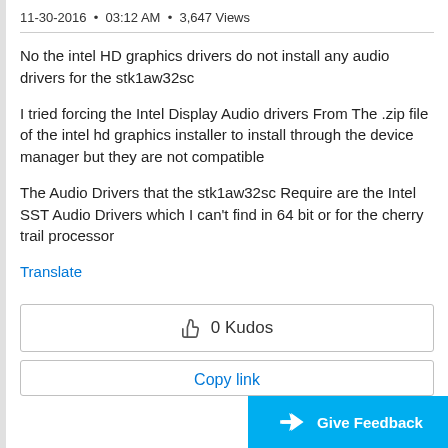11-30-2016 • 03:12 AM • 3,647 Views
No the intel HD graphics drivers do not install any audio drivers for the stk1aw32sc
I tried forcing the Intel Display Audio drivers From The .zip file of the intel hd graphics installer to install through the device manager but they are not compatible
The Audio Drivers that the stk1aw32sc Require are the Intel SST Audio Drivers which I can't find in 64 bit or for the cherry trail processor
Translate
👍 0 Kudos
Copy link
Give Feedback